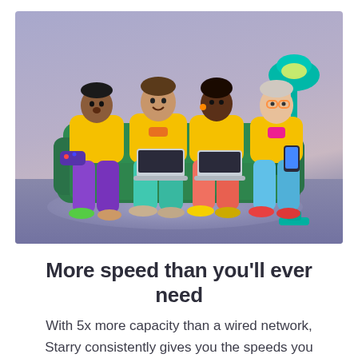[Figure (photo): Four people sitting on a green couch wearing yellow sweatshirts with colorful pants (purple, teal, coral/pink, light blue). They are using various devices — a game controller, two laptops, and a phone. A teal floor lamp stands to the right. The background is a periwinkle/lavender-blue gradient. The scene has a colorful, playful, studio-shot aesthetic.]
More speed than you'll ever need
With 5x more capacity than a wired network, Starry consistently gives you the speeds you